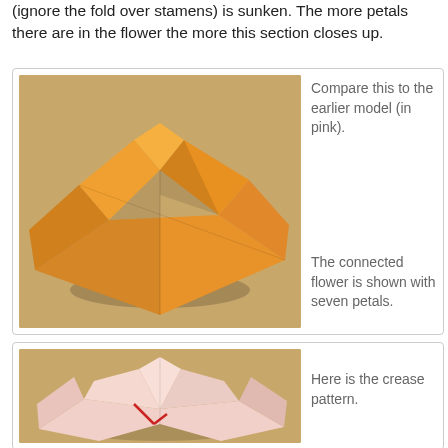(ignore the fold over stamens) is sunken. The more petals there are in the flower the more this section closes up.
[Figure (photo): Orange origami flower model showing a folded paper structure with angular petal-like folds on a tan/beige background]
Compare this to the earlier model (in pink).
The connected flower is shown with seven petals.
[Figure (photo): Pink origami flower model showing a folded paper structure with angular folds and a red detail, on a tan/beige background]
Here is the crease pattern.